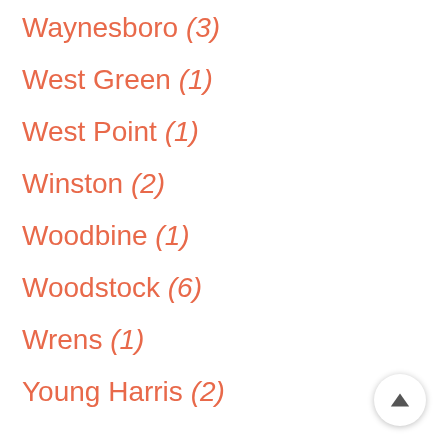Waynesboro (3)
West Green (1)
West Point (1)
Winston (2)
Woodbine (1)
Woodstock (6)
Wrens (1)
Young Harris (2)